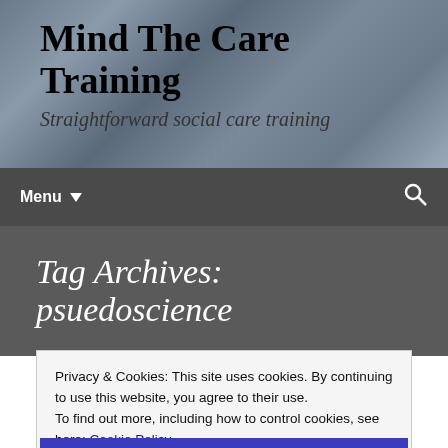Mind The Care Training
Straightforward social care training
Menu ▼
Tag Archives: psuedoscience
[Figure (other): Blue card/banner area]
Privacy & Cookies: This site uses cookies. By continuing to use this website, you agree to their use.
To find out more, including how to control cookies, see here: Cookie Policy
Close and accept